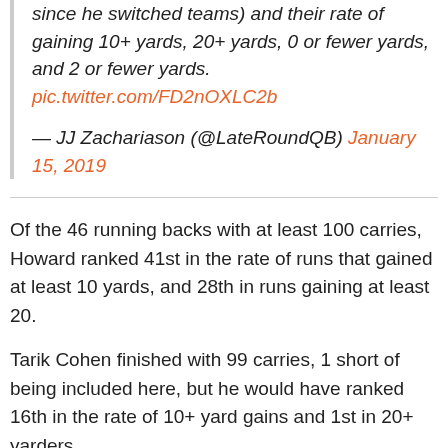since he switched teams) and their rate of gaining 10+ yards, 20+ yards, 0 or fewer yards, and 2 or fewer yards. pic.twitter.com/FD2nOXLC2b
— JJ Zachariason (@LateRoundQB) January 15, 2019
Of the 46 running backs with at least 100 carries, Howard ranked 41st in the rate of runs that gained at least 10 yards, and 28th in runs gaining at least 20.
Tarik Cohen finished with 99 carries, 1 short of being included here, but he would have ranked 16th in the rate of 10+ yard gains and 1st in 20+ yarders.
This continues a trend through three seasons for Howard. As a rookie, 17% of his runs went for 10+ yards. In 2017, that dropped to 11% (around average), and in 2018 around 7%.